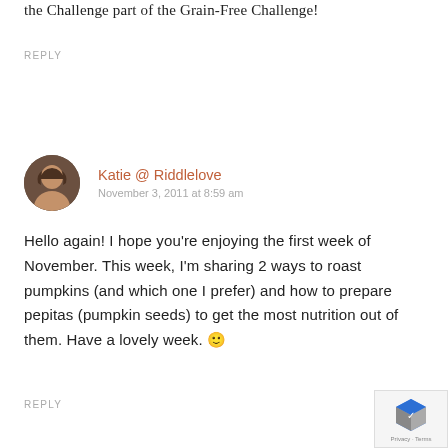the Challenge part of the Grain-Free Challenge!
REPLY
Katie @ Riddlelove
November 3, 2011 at 8:59 am
Hello again! I hope you're enjoying the first week of November. This week, I'm sharing 2 ways to roast pumpkins (and which one I prefer) and how to prepare pepitas (pumpkin seeds) to get the most nutrition out of them. Have a lovely week. 🙂
REPLY